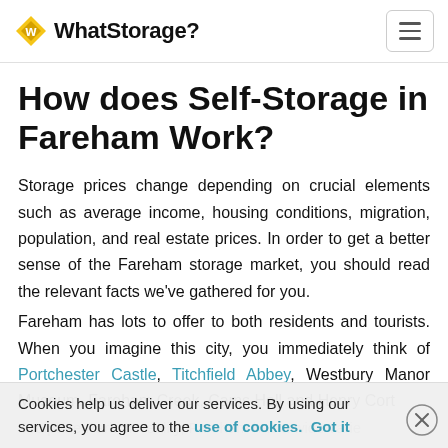WhatStorage?
How does Self-Storage in Fareham Work?
Storage prices change depending on crucial elements such as average income, housing conditions, migration, population, and real estate prices. In order to get a better sense of the Fareham storage market, you should read the relevant facts we've gathered for you.
Fareham has lots to offer to both residents and tourists. When you imagine this city, you immediately think of Portchester Castle, Titchfield Abbey, Westbury Manor Museum, Fareham Creek, Cams Hall and Henry Cort Sculpture Park. In reality, Fareham has a wide variety of attractions that suit everyone's taste.
Cookies help us deliver our services. By using our services, you agree to the use of cookies. Got it